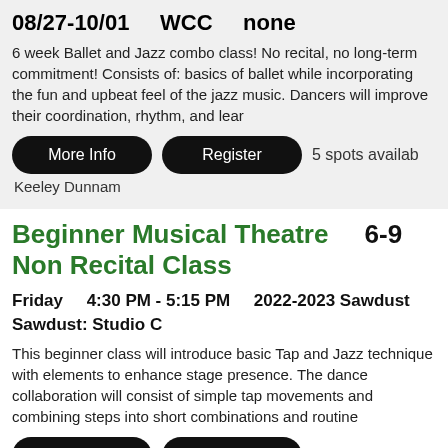08/27-10/01    WCC    none
6 week Ballet and Jazz combo class! No recital, no long-term commitment! Consists of: basics of ballet while incorporating the fun and upbeat feel of the jazz music. Dancers will improve their coordination, rhythm, and lear
More Info   Register   5 spots availab
Keeley Dunnam
Beginner Musical Theatre  6-9  Non Recital Class
Friday  4:30 PM - 5:15 PM  2022-2023 Sawdust Sawdust: Studio C
This beginner class will introduce basic Tap and Jazz technique with elements to enhance stage presence. The dance collaboration will consist of simple tap movements and combining steps into short combinations and routine
More Info   Register   7 spots availab
Lola Jordan